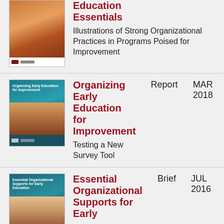[Figure (photo): Book cover thumbnail with child photo, warm orange/brown tones]
Education Essentials
Illustrations of Strong Organizational Practices in Programs Poised for Improvement
[Figure (photo): Book cover thumbnail with teal/blue background and child with adult photo]
Organizing Early Education for Improvement
Testing a New Survey Tool
Report
MAR 2018
[Figure (photo): Book cover thumbnail with teal background and children photo]
Essential Organizational Supports for Early
Brief
JUL 2016